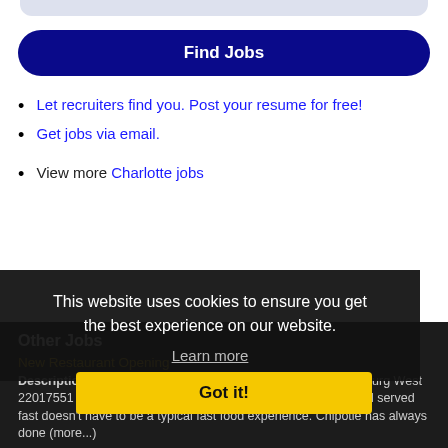[Figure (other): Top light grey rounded bar/search field area at top of page]
Find Jobs
Let recruiters find you. Post your resume for free!
Get jobs via email.
View more Charlotte jobs
This website uses cookies to ensure you get the best experience on our website.
Learn more
Other Jobs
New Restaurant Opening
Description: Restaurant Team Member - Crew 1680 - Spartanburg West 22017551 or descriptionCULTIVATING A BETTER WORLDFood served fast doesn't have to be a typical fast food experience. Chipotle has always done (more...)
Got it!